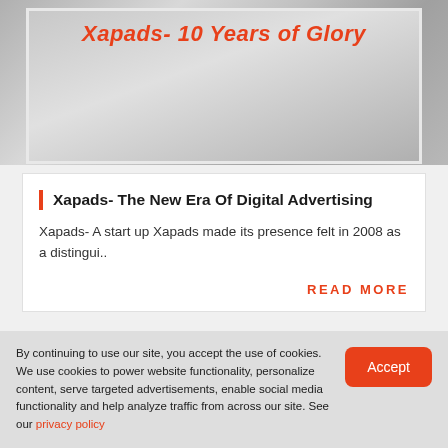[Figure (illustration): Silver/gray gradient background image with a white-bordered inner frame containing the bold italic red text 'Xapads- 10 Years of Glory']
Xapads- The New Era Of Digital Advertising
Xapads- A start up Xapads made its presence felt in 2008 as a distingui..
READ MORE
By continuing to use our site, you accept the use of cookies. We use cookies to power website functionality, personalize content, serve targeted advertisements, enable social media functionality and help analyze traffic from across our site. See our privacy policy